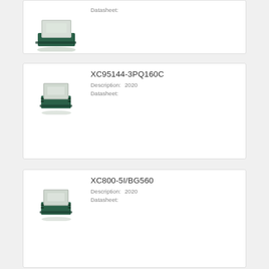[Figure (photo): Xilinx FPGA/CPLD chip photo (top partial view)]
Datasheet:
[Figure (photo): Xilinx FPGA/CPLD chip photo]
XC95144-3PQ160C
Description: 2020
Datasheet:
[Figure (photo): Xilinx FPGA/CPLD chip photo]
XC800-5I/BG560
Description: 2020
Datasheet: